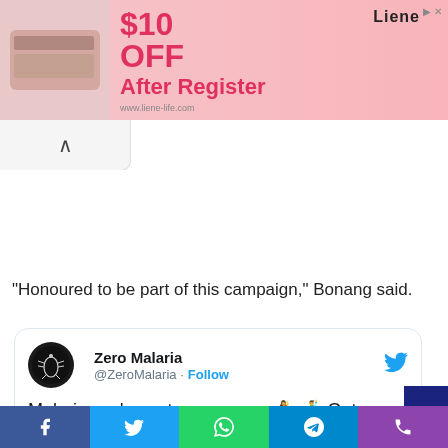[Figure (screenshot): Advertisement banner for Liene showing $10 OFF After Register promotion with product image]
“Honoured to be part of this campaign,” Bonang said.
[Figure (screenshot): Embedded tweet from @ZeroMalaria account: 'Malaria, we've got new moves 💃🕺 Get involved this #AfricaDay to turn the']
[Figure (infographic): Social media share bar with Facebook, Twitter, WhatsApp, Telegram, and phone icons]